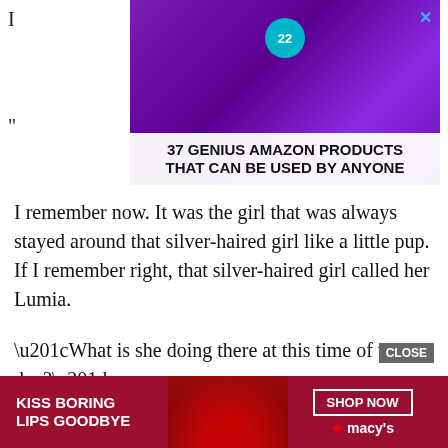I
[Figure (screenshot): Advertisement banner: purple headphones with '22' badge, text overlay '37 GENIUS AMAZON PRODUCTS THAT CAN BE USED BY ANYONE' with close X button]
"
I remember now. It was the girl that was always stayed around that silver-haired girl like a little pup. If I remember right, that silver-haired girl called her Lumia.
“What is she doing there at this time of the day?”
Lumia was looking at the textbook. Using it as a reference, she used mercury to draw a circle on the floor, and a pentagram in
[Figure (screenshot): Advertisement banner at bottom: red background with 'KISS BORING LIPS GOODBYE' text, woman's lips photo, SHOP NOW button and Macy's logo with star]